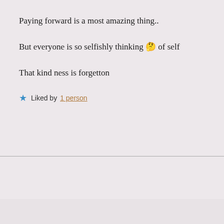Paying forward is a most amazing thing..
But everyone is so selfishly thinking 🤔 of self
That kindness is forgetton
★ Liked by 1 person
November 30, 20
Advertisements
Search, browse, and email with more privacy. All in One Free App — DuckDuckGo